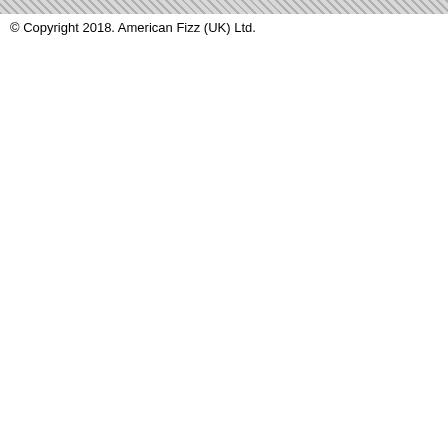© Copyright 2018. American Fizz (UK) Ltd.